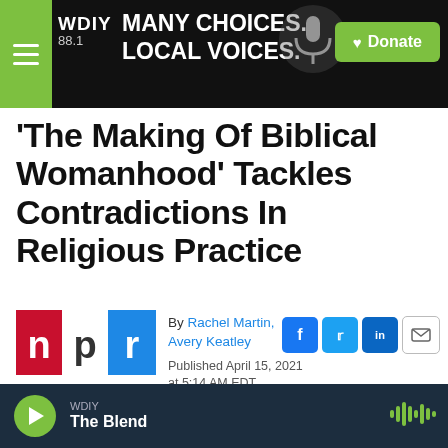WDIY 88.1 — MANY CHOICES. LOCAL VOICES. Donate
'The Making Of Biblical Womanhood' Tackles Contradictions In Religious Practice
[Figure (logo): NPR logo in red, white, and blue]
By Rachel Martin, Avery Keatley
Published April 15, 2021 at 5:14 AM EDT
WDIY — The Blend